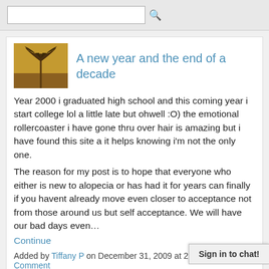[search bar]
A new year and the end of a decade
Year 2000 i graduated high school and this coming year i start college lol a little late but ohwell :O) the emotional rollercoaster i have gone thru over hair is amazing but i have found this site a it helps knowing i'm not the only one.
The reason for my post is to hope that everyone who either is new to alopecia or has had it for years can finally if you havent already move even closer to acceptance not from those around us but self acceptance. We will have our bad days even…
Continue
Added by Tiffany P on December 31, 2009 at 2:26pm — 1 Comment
Dotty's Inspirational/Motivational Reflection